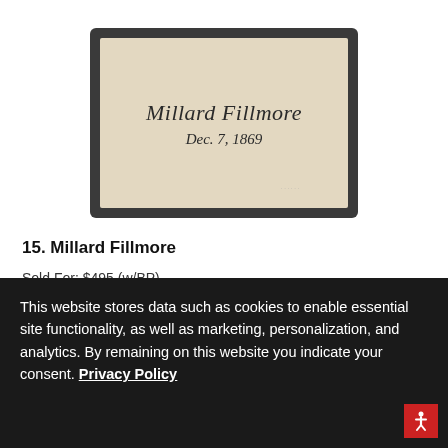[Figure (photo): A cream/beige colored card with a cursive signature reading 'Millard Fillmore' and below it 'Dec. 7, 1869', mounted on a dark gray/black card backing.]
15. Millard Fillmore
Sold For: $495 (w/BP)
This website stores data such as cookies to enable essential site functionality, as well as marketing, personalization, and analytics. By remaining on this website you indicate your consent. Privacy Policy